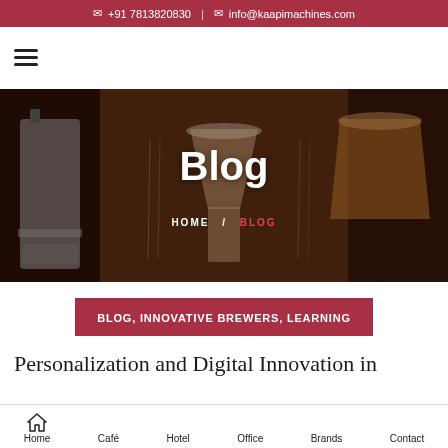✉ +91 7813820830 | ✉ info@kaapimachines.com
[Figure (screenshot): Hamburger menu icon (three horizontal lines)]
[Figure (photo): Hero banner showing various coffee brewing equipment including French press, Chemex, and pour-over drippers on a dark background with text 'Blog' and breadcrumb 'HOME / BLOG']
Blog
HOME  /  BLOG
BLOG, INNOVATIVE BREWERS, LEARNING
Personalization and Digital Innovation in
Home  Café  Hotel  Office  Brands  Contact